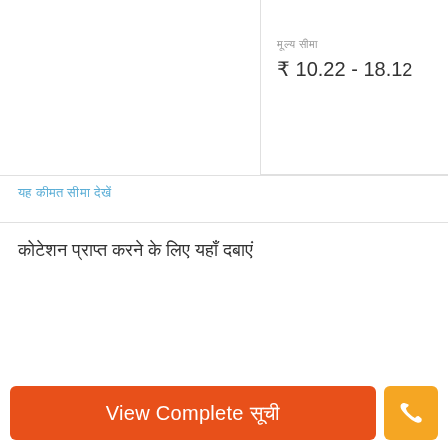मूल्य सीमा
₹ 10.22 - 18.12
यह कीमत सीमा देखें
कोटेशन प्राप्त करने के लिए यहाँ दबाएं
View Complete सूची